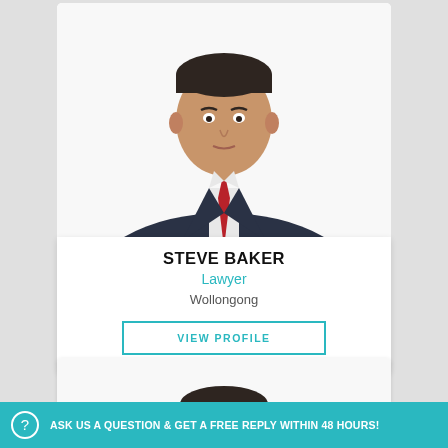[Figure (photo): Professional headshot of Steve Baker, a man in a dark navy suit with a red tie, white shirt, on a white background.]
STEVE BAKER
Lawyer
Wollongong
VIEW PROFILE
[Figure (photo): Professional headshot of a young man in a dark suit with a red tie, smiling, on a white background.]
ASK US A QUESTION & GET A FREE REPLY WITHIN 48 HOURS!